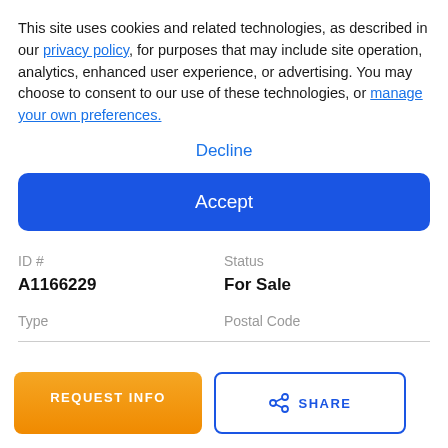This site uses cookies and related technologies, as described in our privacy policy, for purposes that may include site operation, analytics, enhanced user experience, or advertising. You may choose to consent to our use of these technologies, or manage your own preferences.
Decline
Accept
ID #
Status
A1166229
For Sale
Type
Postal Code
REQUEST INFO
SHARE